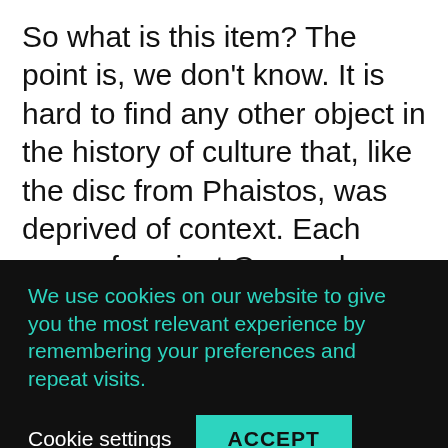So what is this item? The point is, we don't know. It is hard to find any other object in the history of culture that, like the disc from Phaistos, was deprived of context. Each vase of ancient Greece has hundreds and thousands of other vases for comparison around it. Hundreds of pieces of Minoan paintings have been found on the walls of palaces in Crete, houses in Akrotiri, Santorini, and elsewhere; we can compare their style, colors and themes. We know thousands of
We use cookies on our website to give you the most relevant experience by remembering your preferences and repeat visits.
Cookie settings
ACCEPT